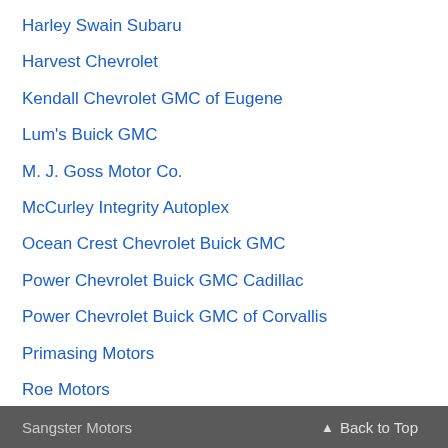Harley Swain Subaru
Harvest Chevrolet
Kendall Chevrolet GMC of Eugene
Lum's Buick GMC
M. J. Goss Motor Co.
McCurley Integrity Autoplex
Ocean Crest Chevrolet Buick GMC
Power Chevrolet Buick GMC Cadillac
Power Chevrolet Buick GMC of Corvallis
Primasing Motors
Roe Motors
Royal Moore GMC Buick
Sangster Motors  ▲ Back to Top